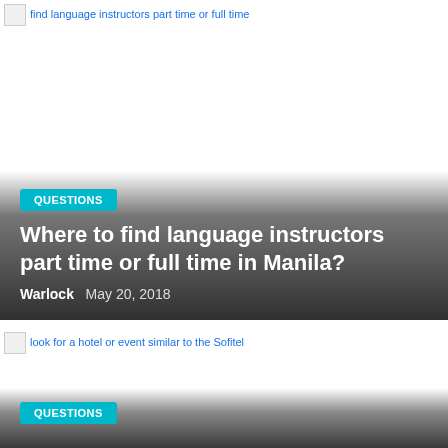[Figure (screenshot): Article card thumbnail with broken image placeholder showing alt text: 'find language instructors part time or full time']
QUESTIONS
Where to find language instructors part time or full time in Manila?
Warlock   May 20, 2018
[Figure (screenshot): Article card thumbnail with broken image placeholder showing alt text: 'look for a hotel or event similar to the Sofitel']
QUESTIONS